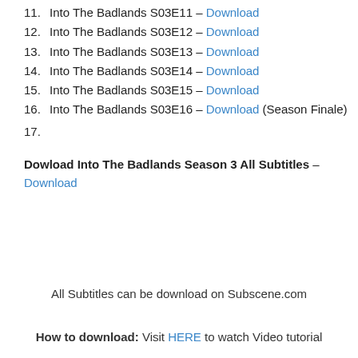11. Into The Badlands S03E11 – Download
12. Into The Badlands S03E12 – Download
13. Into The Badlands S03E13 – Download
14. Into The Badlands S03E14 – Download
15. Into The Badlands S03E15 – Download
16. Into The Badlands S03E16 – Download (Season Finale)
17.
Dowload Into The Badlands Season 3 All Subtitles – Download
All Subtitles can be download on Subscene.com
How to download: Visit HERE to watch Video tutorial